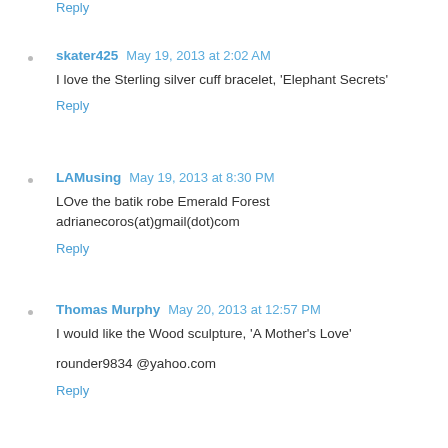Reply
skater425  May 19, 2013 at 2:02 AM
I love the Sterling silver cuff bracelet, 'Elephant Secrets'
Reply
LAMusing  May 19, 2013 at 8:30 PM
LOve the batik robe Emerald Forest adrianecoros(at)gmail(dot)com
Reply
Thomas Murphy  May 20, 2013 at 12:57 PM
I would like the Wood sculpture, 'A Mother's Love'

rounder9834 @yahoo.com
Reply